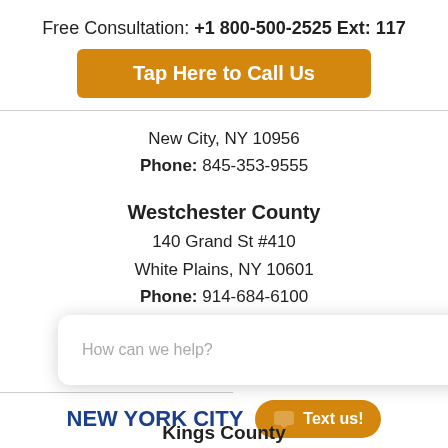Free Consultation: +1 800-500-2525 Ext: 117
[Figure (other): Orange button: Tap Here to Call Us]
New City, NY 10956
Phone: 845-353-9555
Westchester County
140 Grand St #410
White Plains, NY 10601
Phone: 914-684-6100
[Figure (other): Chat popup with close button: How can we help?]
NEW YORK CITY
[Figure (other): Orange Text us! button]
Kings County